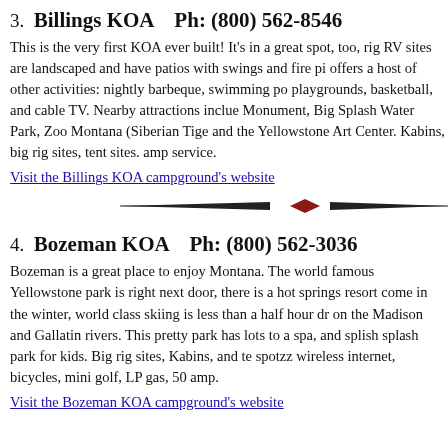3.  Billings KOA    Ph: (800) 562-8546
This is the very first KOA ever built! It's in a great spot, too, rig RV sites are landscaped and have patios with swings and fire pi offers a host of other activities: nightly barbeque, swimming po playgrounds, basketball, and cable TV. Nearby attractions inclue Monument, Big Splash Water Park, Zoo Montana (Siberian Tige and the Yellowstone Art Center. Kabins, big rig sites, tent sites. amp service.
Visit the Billings KOA campground's website
[Figure (illustration): Decorative horizontal divider with diamond shape in center and tapered lines on sides]
4.  Bozeman KOA    Ph: (800) 562-3036
Bozeman is a great place to enjoy Montana. The world famous Yellowstone park is right next door, there is a hot springs resort come in the winter, world class skiing is less than a half hour dr on the Madison and Gallatin rivers. This pretty park has lots to a spa, and splish splash park for kids. Big rig sites, Kabins, and te spotzz wireless internet, bicycles, mini golf, LP gas, 50 amp.
Visit the Bozeman KOA campground's website